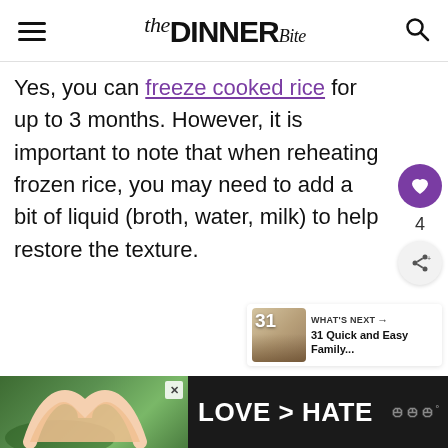the DINNER Bite
Yes, you can freeze cooked rice for up to 3 months. However, it is important to note that when reheating frozen rice, you may need to add a bit of liquid (broth, water, milk) to help restore the texture.
[Figure (other): Heart icon button (purple circle with white heart) with count of 4, and share icon button below]
[Figure (other): What's Next promo box: thumbnail of '31 Quick and Easy Family...' article with food image]
[Figure (other): Ad banner: LOVE > HATE on dark background with hands forming heart shape over green background]